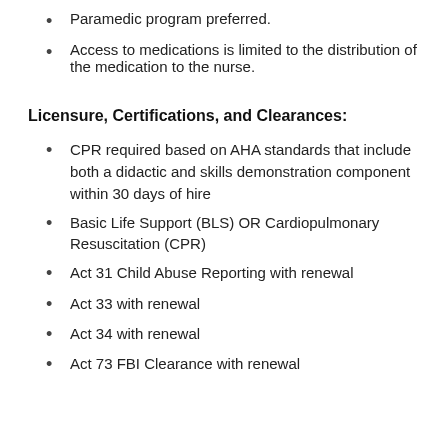Paramedic program preferred.
Access to medications is limited to the distribution of the medication to the nurse.
Licensure, Certifications, and Clearances:
CPR required based on AHA standards that include both a didactic and skills demonstration component within 30 days of hire
Basic Life Support (BLS) OR Cardiopulmonary Resuscitation (CPR)
Act 31 Child Abuse Reporting with renewal
Act 33 with renewal
Act 34 with renewal
Act 73 FBI Clearance with renewal